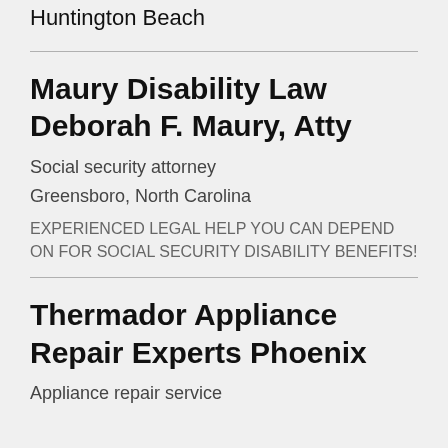Huntington Beach
Maury Disability Law Deborah F. Maury, Atty
Social security attorney
Greensboro, North Carolina
EXPERIENCED LEGAL HELP YOU CAN DEPEND ON FOR SOCIAL SECURITY DISABILITY BENEFITS!
Thermador Appliance Repair Experts Phoenix
Appliance repair service